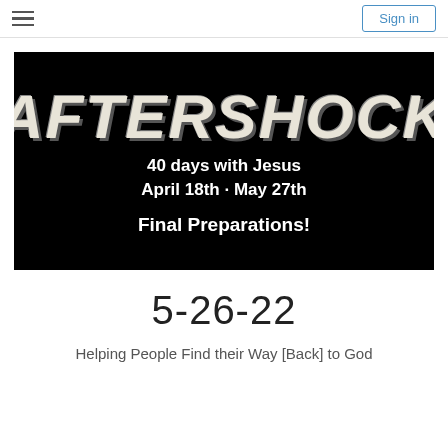Sign in
[Figure (illustration): Black background image with large bold italic text 'AFTERSHOCK', subtitle '40 days with Jesus', date 'April 18th - May 27th', and bold text 'Final Preparations!']
5-26-22
Helping People Find their Way [Back] to God